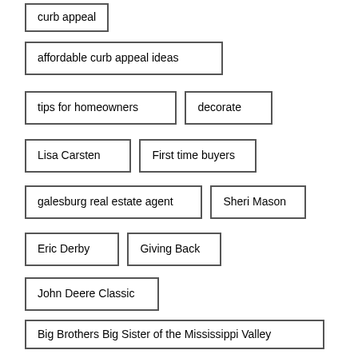curb appeal
affordable curb appeal ideas
tips for homeowners
decorate
Lisa Carsten
First time buyers
galesburg real estate agent
Sheri Mason
Eric Derby
Giving Back
John Deere Classic
Big Brothers Big Sister of the Mississippi Valley
Clair Peterson
Rusty Boruff